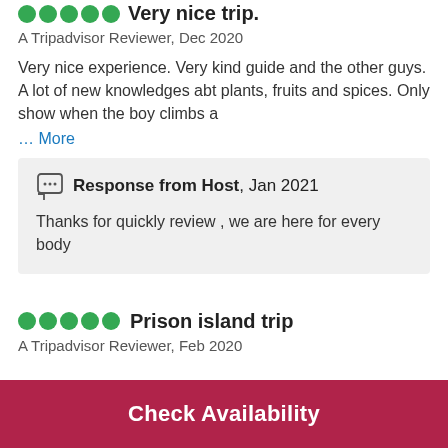Very nice trip.
A Tripadvisor Reviewer, Dec 2020
Very nice experience. Very kind guide and the other guys. A lot of new knowledges abt plants, fruits and spices. Only show when the boy climbs a
... More
Response from Host, Jan 2021
Thanks for quickly review , we are here for every body
Prison island trip
A Tripadvisor Reviewer, Feb 2020
Check Availability